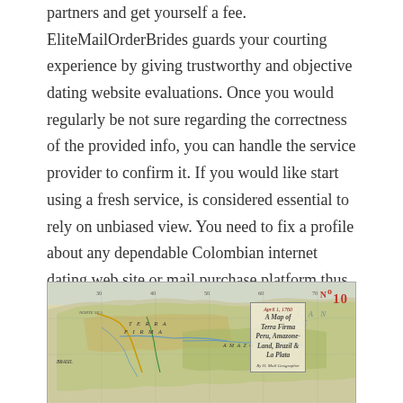partners and get yourself a fee. EliteMailOrderBrides guards your courting experience by giving trustworthy and objective dating website evaluations. Once you would regularly be not sure regarding the correctness of the provided info, you can handle the service provider to confirm it. If you would like start using a fresh service, is considered essential to rely on unbiased view. You need to fix a profile about any dependable Colombian internet dating web site or mail purchase platform thus far a Colombian woman. When you could have met over you like, observe the tips on this information and you could be nice.
[Figure (map): An old historical map labeled 'No 10', showing Terra Firma, Peru, Amazone-Land, Brazil and La Plata region. Dated April 1, 1760. Map shows northern South America and parts of Central America with geographical labels and coastlines.]